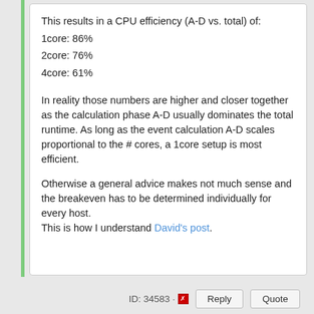This results in a CPU efficiency (A-D vs. total) of:
1core: 86%
2core: 76%
4core: 61%
In reality those numbers are higher and closer together as the calculation phase A-D usually dominates the total runtime. As long as the event calculation A-D scales proportional to the # cores, a 1core setup is most efficient.
Otherwise a general advice makes not much sense and the breakeven has to be determined individually for every host.
This is how I understand David's post.
ID: 34583 · Reply Quote